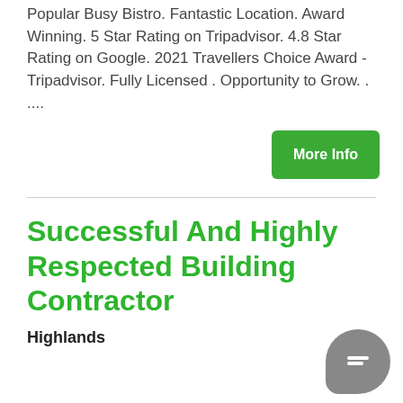Popular Busy Bistro. Fantastic Location. Award Winning. 5 Star Rating on Tripadvisor. 4.8 Star Rating on Google. 2021 Travellers Choice Award - Tripadvisor. Fully Licensed . Opportunity to Grow. . ....
More Info
Successful And Highly Respected Building Contractor
Highlands